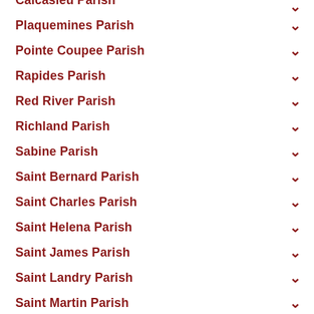Plaquemines Parish
Pointe Coupee Parish
Rapides Parish
Red River Parish
Richland Parish
Sabine Parish
Saint Bernard Parish
Saint Charles Parish
Saint Helena Parish
Saint James Parish
Saint Landry Parish
Saint Martin Parish